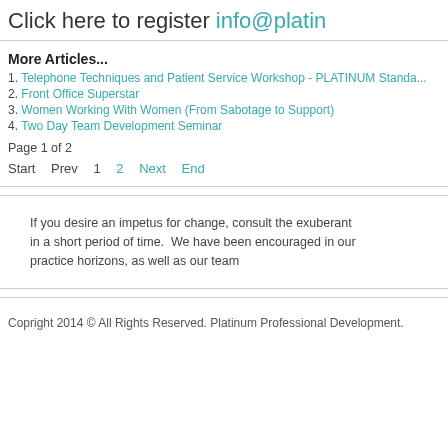Click here to register info@platin...
More Articles...
1. Telephone Techniques and Patient Service Workshop - PLATINUM Standa...
2. Front Office Superstar
3. Women Working With Women (From Sabotage to Support)
4. Two Day Team Development Seminar
Page 1 of 2
Start   Prev   1   2   Next   End
If you desire an impetus for change, consult the exuberant in a short period of time.  We have been encouraged in our practice horizons, as well as our team
Copright 2014 © All Rights Reserved. Platinum Professional Development.